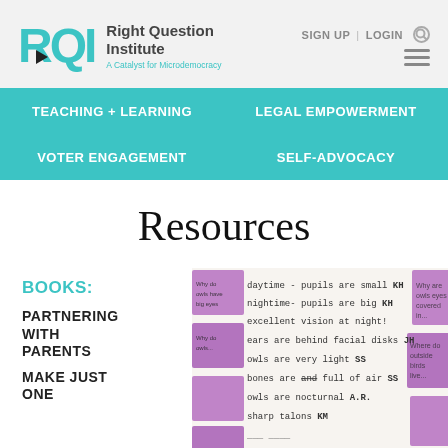Right Question Institute — A Catalyst for Microdemocracy | SIGN UP | LOGIN
TEACHING + LEARNING
LEGAL EMPOWERMENT
VOTER ENGAGEMENT
SELF-ADVOCACY
Resources
BOOKS:
PARTNERING WITH PARENTS
MAKE JUST ONE
[Figure (photo): Classroom whiteboard with student notes about owls, including sticky notes with questions. Text visible includes: daytime - pupils are small KH, nightime- pupils are big KH, excellent vision at night, ears are behind facial disks JH, owls are very light SS, bones are full of air SS, owls are nocturnal A.R., sharp talons KM]